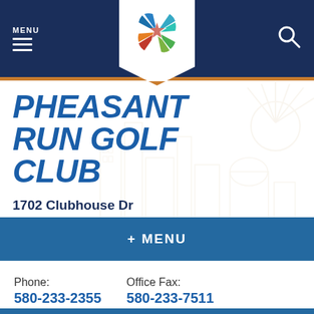MENU
[Figure (logo): City of Enid colorful star/pinwheel logo on white shield-shaped badge centered in navy navigation bar]
PHEASANT RUN GOLF CLUB
1702 Clubhouse Dr
Enid, OK 73703
+ MENU
Phone: 580-233-2355
Office Fax: 580-233-7511
Hours